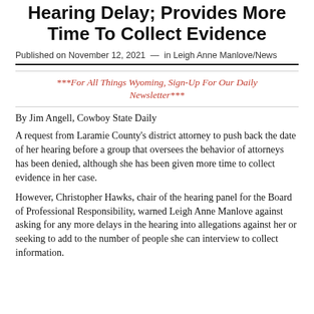Hearing Delay; Provides More Time To Collect Evidence
Published on November 12, 2021  —  in Leigh Anne Manlove/News
***For All Things Wyoming, Sign-Up For Our Daily Newsletter***
By Jim Angell, Cowboy State Daily
A request from Laramie County's district attorney to push back the date of her hearing before a group that oversees the behavior of attorneys has been denied, although she has been given more time to collect evidence in her case.
However, Christopher Hawks, chair of the hearing panel for the Board of Professional Responsibility, warned Leigh Anne Manlove against asking for any more delays in the hearing into allegations against her or seeking to add to the number of people she can interview to collect information.